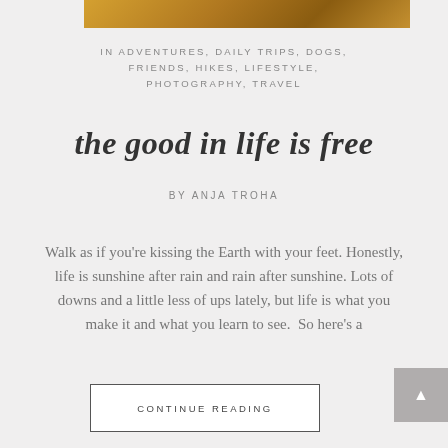[Figure (photo): Partial photo strip at top showing warm orange/brown tones, likely a landscape or nature photo]
IN ADVENTURES, DAILY TRIPS, DOGS, FRIENDS, HIKES, LIFESTYLE, PHOTOGRAPHY, TRAVEL
the good in life is free
BY ANJA TROHA
Walk as if you're kissing the Earth with your feet. Honestly, life is sunshine after rain and rain after sunshine. Lots of downs and a little less of ups lately, but life is what you make it and what you learn to see.  So here's a
CONTINUE READING